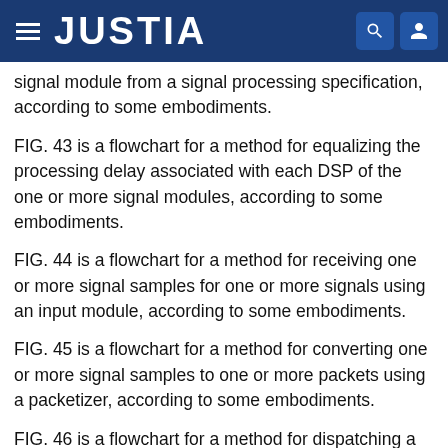JUSTIA
signal module from a signal processing specification, according to some embodiments.
FIG. 43 is a flowchart for a method for equalizing the processing delay associated with each DSP of the one or more signal modules, according to some embodiments.
FIG. 44 is a flowchart for a method for receiving one or more signal samples for one or more signals using an input module, according to some embodiments.
FIG. 45 is a flowchart for a method for converting one or more signal samples to one or more packets using a packetizer, according to some embodiments.
FIG. 46 is a flowchart for a method for dispatching a packet containing one or more signal samples to a queueing module, according to some embodiments.